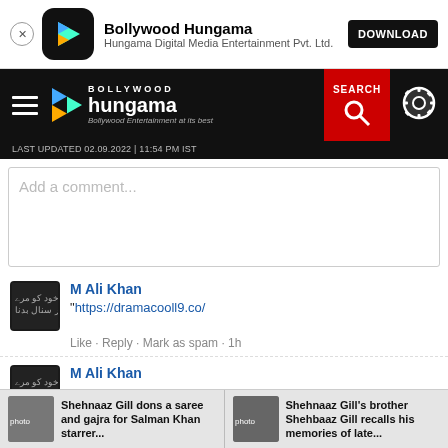Bollywood Hungama – Hungama Digital Media Entertainment Pvt. Ltd. – DOWNLOAD
[Figure (screenshot): Bollywood Hungama website navigation bar with logo, search button, and settings icon. Last updated 02.09.2022 | 11:54 PM IST]
Add a comment...
M Ali Khan
"https://dramacooll9.co/
Like · Reply · Mark as spam · 1h
M Ali Khan
Dramacool Best Episod
<br>
<a href="https://dramacooll9.co/">Dramacool</a>
Shehnaaz Gill dons a saree and gajra for Salman Khan starrer...   Shehnaaz Gill's brother Shehbaaz Gill recalls his memories of late...